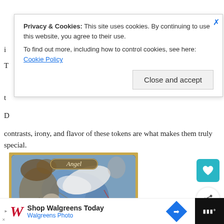i
T
t
D
contrasts, irony, and flavor of these tokens are what makes them truly special.
[Figure (photo): Magic: The Gathering Angel token card with renaissance-style painting artwork showing an angel in battle, gold border, label reading 'Angel']
[Figure (screenshot): Cookie consent banner overlay reading: Privacy & Cookies: This site uses cookies. By continuing to use this website, you agree to their use. To find out more, including how to control cookies, see here: Cookie Policy. Button: Close and accept]
[Figure (screenshot): Walgreens advertisement banner: Shop Walgreens Today, Walgreens Photo]
[Figure (screenshot): Floating action buttons: teal like/bookmark button with heart icon, white share button]